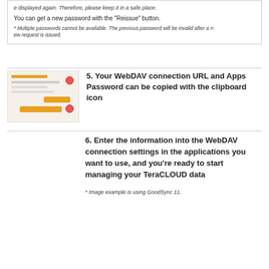e displayed again. Therefore, please keep it in a safe place.
You can get a new password with the "Reissue" button.
* Multiple passwords cannot be available. The previous password will be invalid after a new request is issued.
5. Your WebDAV connection URL and Apps Password can be copied with the clipboard icon
[Figure (screenshot): Screenshot of a WebDAV settings panel with orange UI elements and copy icons]
6. Enter the information into the WebDAV connection settings in the applications you want to use, and you're ready to start managing your TeraCLOUD data
* Image example is using GoodSync 11.